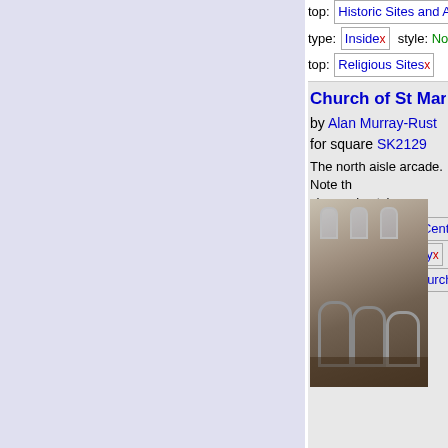top: Historic Sites and Artefacts
type: Inside x   style: Norman
top: Religious Sites x
Church of St Mary, Tutb
by Alan Murray-Rust
for square SK2129
The north aisle arcade. Note the change in style between the ea circular... (more)
Tags: period: 12th Century x
period: 16th Century x
Aisle Arcade x   Church Inte
top: City, Town Centre x
Clerestory x   Grade I Listed
top: Historic Sites and Artefacts
type: Inside x   style: Norman
top: Religious Sites x
Church of St Mary, Tutb
by Alan Murray-Rust
for square SK2129
The interior looking east. Follow
[Figure (photo): Interior photo of Church of St Mary showing north aisle arcade with Norman arches and clerestory windows]